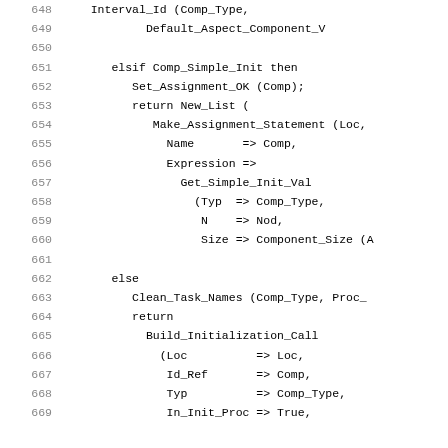Code listing lines 648-669, Ada/programming source code showing elsif Comp_Simple_Init then block and else block with Build_Initialization_Call
648: Interval_Id (Comp_Type,
649:     Default_Aspect_Component_V
650: (blank)
651:     elsif Comp_Simple_Init then
652:         Set_Assignment_OK (Comp);
653:         return New_List (
654:             Make_Assignment_Statement (Loc,
655:               Name    => Comp,
656:               Expression =>
657:                 Get_Simple_Init_Val
658:                   (Typ  => Comp_Type,
659:                    N    => Nod,
660:                    Size => Component_Size (A
661: (blank)
662:     else
663:         Clean_Task_Names (Comp_Type, Proc_
664:         return
665:           Build_Initialization_Call
666:             (Loc        => Loc,
667:              Id_Ref     => Comp,
668:              Typ        => Comp_Type,
669:              In_Init_Proc => True,